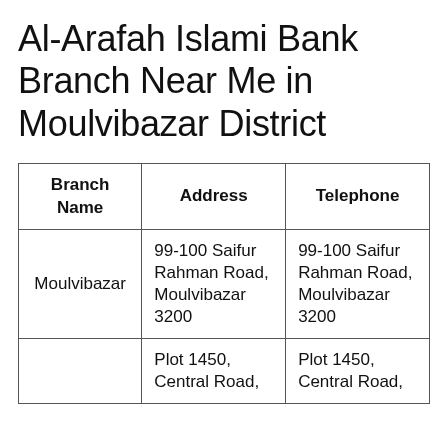Al-Arafah Islami Bank Branch Near Me in Moulvibazar District
| Branch Name | Address | Telephone |
| --- | --- | --- |
| Moulvibazar | 99-100 Saifur Rahman Road, Moulvibazar 3200 | 99-100 Saifur Rahman Road, Moulvibazar 3200 |
|  | Plot 1450, Central Road, | Plot 1450, Central Road, |